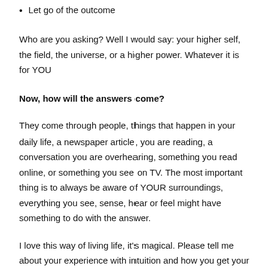Let go of the outcome
Who are you asking? Well I would say: your higher self, the field, the universe, or a higher power. Whatever it is for YOU
Now, how will the answers come?
They come through people, things that happen in your daily life, a newspaper article, you are reading, a conversation you are overhearing, something you read online, or something you see on TV. The most important thing is to always be aware of YOUR surroundings, everything you see, sense, hear or feel might have something to do with the answer.
I love this way of living life, it's magical. Please tell me about your experience with intuition and how you get your answers. The more intuitive you get the more you will trust yourself.